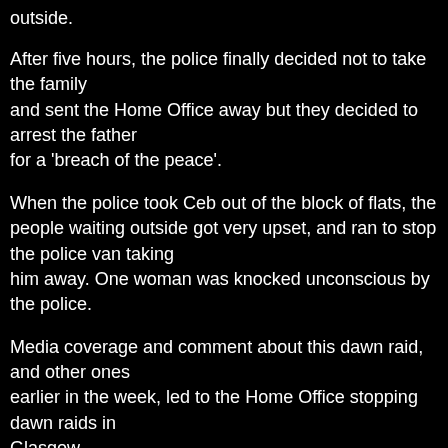outside.
After five hours, the police finally decided not to take the family and sent the Home Office away but they decided to arrest the father for a 'breach of the peace'.
When the police took Ceb out of the block of flats, the people waiting outside got very upset, and ran to stop the police van taking him away. One woman was knocked unconscious by the police.
Media coverage and comment about this dawn raid, and other ones earlier in the week, led to the Home Office stopping dawn raids in Glasgow.
But one month later the police came to the home of Phill and Cat from the Unity Centre and arrested them for breach of the peace for causing the trouble in Cardonald.